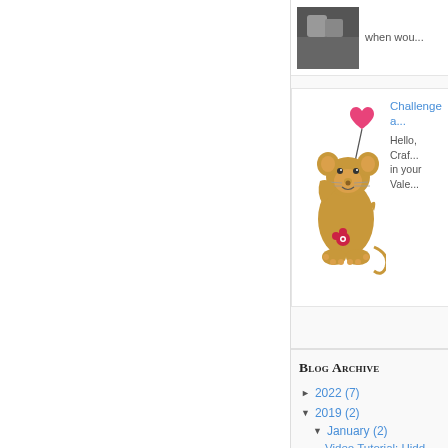[Figure (illustration): Small black and white photo thumbnail in top right area]
when wou...
[Figure (illustration): Cartoon mouse holding a pink heart balloon]
Challenge a...
Hello, Craf...
in your Vale...
Blog Archive
► 2022 (7)
▼ 2019 (2)
▼ January (2)
Video Tutorial: Hidd...
Valentine Card Tuto...
► 2016 (21)
► 2015 (3)